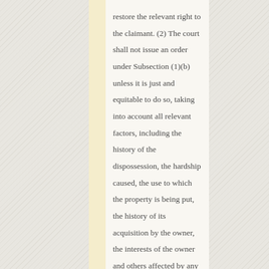restore the relevant right to the claimant. (2) The court shall not issue an order under Subsection (1)(b) unless it is just and equitable to do so, taking into account all relevant factors, including the history of the dispossession, the hardship caused, the use to which the property is being put, the history of its acquisition by the owner, the interests of the owner and others affected by any expropriation, and the interests of the dispossessed: Provided that any